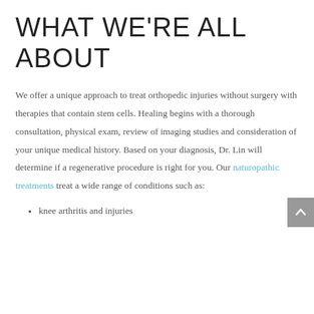WHAT WE'RE ALL ABOUT
We offer a unique approach to treat orthopedic injuries without surgery with therapies that contain stem cells. Healing begins with a thorough consultation, physical exam, review of imaging studies and consideration of your unique medical history. Based on your diagnosis, Dr. Lin will determine if a regenerative procedure is right for you. Our naturopathic treatments treat a wide range of conditions such as:
knee arthritis and injuries